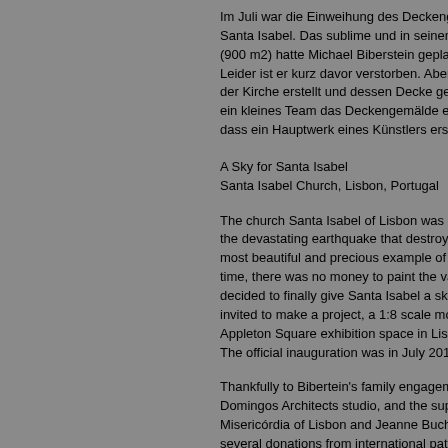Im Juli war die Einweihung des Deckengemälde Santa Isabel. Das sublime und in seinen Ausma (900 m2) hatte Michael Biberstein geplant im Sc Leider ist er kurz davor verstorben. Aber er hatte der Kirche erstellt und dessen Decke gemalt. Na ein kleines Team das Deckengemälde erstellt. E dass ein Hauptwerk eines Künstlers erst nach s
A Sky for Santa Isabel
Santa Isabel Church, Lisbon, Portugal
The church Santa Isabel of Lisbon was complet the devastating earthquake that destroyed more most beautiful and precious example of early cla time, there was no money to paint the vaulted c decided to finally give Santa Isabel a sky. Micha invited to make a project, a 1:8 scale model of w Appleton Square exhibition space in Lisbon. The official inauguration was in July 2016.
Thankfully to Bibertein's family engagement in t Domingos Architects studio, and the support of Misericórdia of Lisbon and Jeanne Bucher Jaeg several donations from international patrons anc Factum Arte.